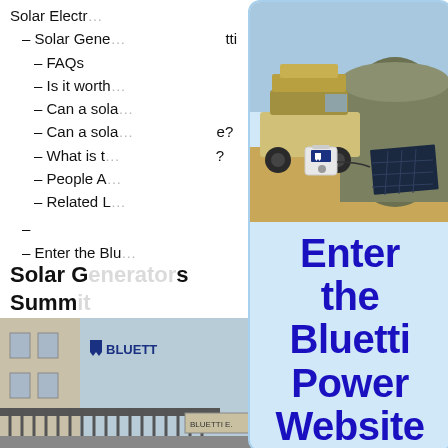Solar Electr...
– Solar Gene... tti
– FAQs
– Is it worth...
– Can a sola...
– Can a sola... e?
– What is t... ?
– People A...
– Related L...
–
– Enter the Blu...
Solar G...s Summ...
[Figure (photo): Outdoor camping scene with a vehicle with rooftop tent, a large canvas tent annex, a Bluetti portable power station, and a solar panel on sandy ground]
[Figure (photo): Bluetti storefront building with logo, iron fence in foreground, and another building on the right]
[Figure (infographic): Overlay popup card with light blue background showing 'Enter the Bluetti Power Website' in large dark blue bold text over the camping photo and building photo]